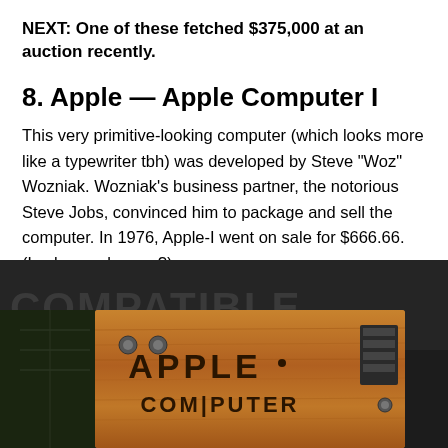NEXT: One of these fetched $375,000 at an auction recently.
8. Apple — Apple Computer I
This very primitive-looking computer (which looks more like a typewriter tbh) was developed by Steve “Woz” Wozniak. Wozniak’s business partner, the notorious Steve Jobs, convinced him to package and sell the computer. In 1976, Apple-I went on sale for $666.66. (Lucky number, no?)
[Figure (photo): Close-up photograph of an Apple Computer I board with wooden casing, showing the 'APPLE COMPUTER' label on a brown wooden surface with circuit board components visible, and partial text 'COMPATIBLE' on a dark background behind.]